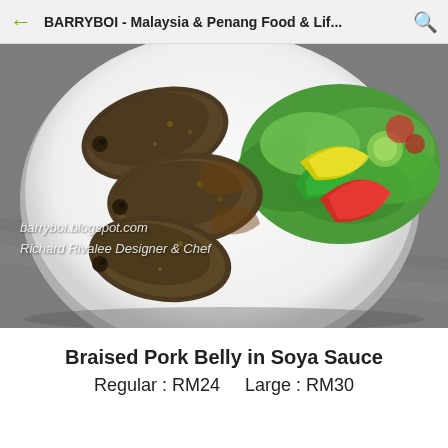BARRYBOI - Malaysia & Penang Food & Lif...
[Figure (photo): Top-down view of a white plate with fried fish and colorful salad garnish (green, yellow, red bell peppers, lettuce) on a grey surface. Watermark text: barryboi.blogspot.com / Richard Rivalee Designer & Chef]
Braised Pork Belly in Soya Sauce
Regular : RM24     Large : RM30